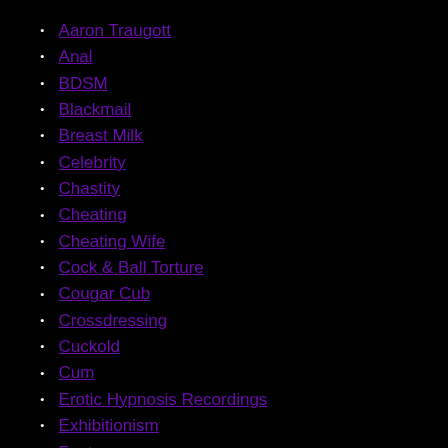Aaron Traugott
Anal
BDSM
Blackmail
Breast Milk
Celebrity
Chastity
Cheating
Cheating Wife
Cock & Ball Torture
Cougar Cub
Crossdressing
Cuckold
Cum
Erotic Hypnosis Recordings
Exhibitionism
Fantasy
Feet